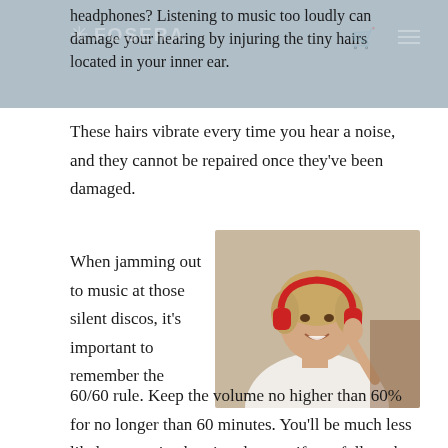headphones? Listening to music too loudly can damage your hearing by injuring the tiny hairs located in your inner ear.
These hairs vibrate every time you hear a noise, and they cannot be repaired once they've been damaged.
[Figure (photo): An elderly woman smiling and wearing red headphones, holding one hand up to the headphone, seated casually.]
When jamming out to music at those silent discos, it's important to remember the 60/60 rule. Keep the volume no higher than 60% for no longer than 60 minutes. You'll be much less likely to receive hearing damage if you follow the 60/60 rule.